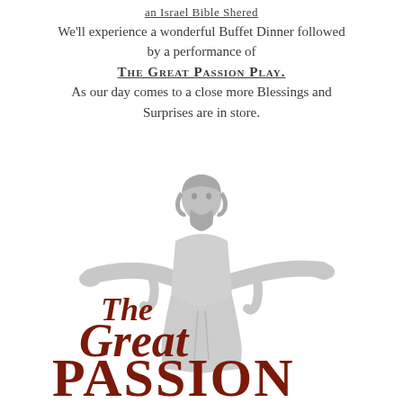an Israel Bible Shered
We'll experience a wonderful Buffet Dinner followed by a performance of THE GREAT PASSION PLAY. As our day comes to a close more Blessings and Surprises are in store.
[Figure (illustration): White statue of Jesus Christ with arms outstretched wide, wearing robes, with 'The Great Passion Play' logo text overlaid in dark red serif font at the bottom]